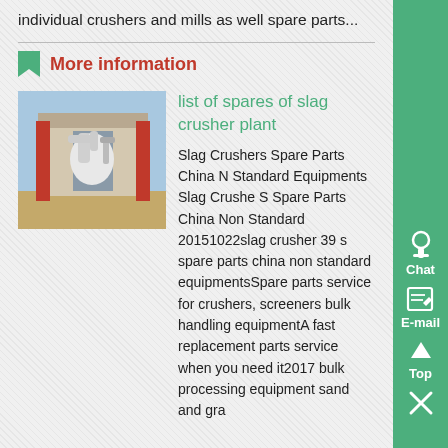individual crushers and mills as well spare parts...
More information
[Figure (photo): Industrial slag crusher plant facility with steel structures, pipes, and machinery outdoors]
list of spares of slag crusher plant
Slag Crushers Spare Parts China Non Standard Equipments Slag Crusher S Spare Parts China Non Standard 20151022slag crusher 39 s spare parts china non standard equipmentsSpare parts service for crushers, screeners bulk handling equipmentA fast replacement parts service when you need it2017 bulk processing equipment sand and gra